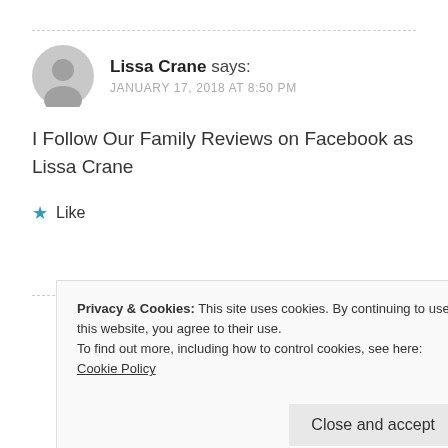Lissa Crane says:
JANUARY 17, 2018 AT 8:50 PM
I Follow Our Family Reviews on Facebook as Lissa Crane
★ Like
Privacy & Cookies: This site uses cookies. By continuing to use this website, you agree to their use.
To find out more, including how to control cookies, see here: Cookie Policy
Close and accept